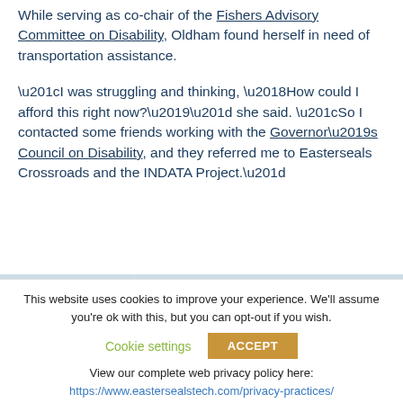While serving as co-chair of the Fishers Advisory Committee on Disability, Oldham found herself in need of transportation assistance.
“I was struggling and thinking, ‘How could I afford this right now?’” she said. “So I contacted some friends working with the Governor’s Council on Disability, and they referred me to Easterseals Crossroads and the INDATA Project.”
[Figure (photo): Partial photo strip showing an outdoor scene, partially obscured by cookie consent banner]
This website uses cookies to improve your experience. We’ll assume you’re ok with this, but you can opt-out if you wish.
Cookie settings   ACCEPT
View our complete web privacy policy here:
https://www.eastersealstech.com/privacy-practices/